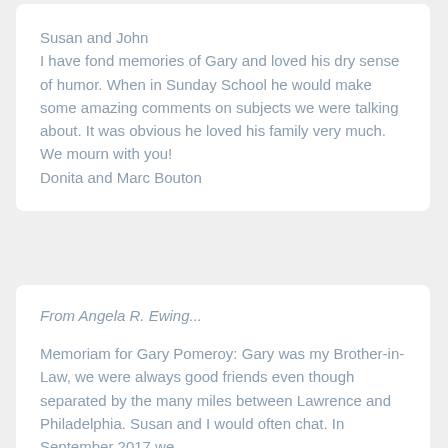Susan and John
I have fond memories of Gary and loved his dry sense of humor. When in Sunday School he would make some amazing comments on subjects we were talking about. It was obvious he loved his family very much. We mourn with you!
Donita and Marc Bouton
From Angela R. Ewing...
Memoriam for Gary Pomeroy: Gary was my Brother-in-Law, we were always good friends even though separated by the many miles between Lawrence and Philadelphia. Susan and I would often chat. In September 2017 we